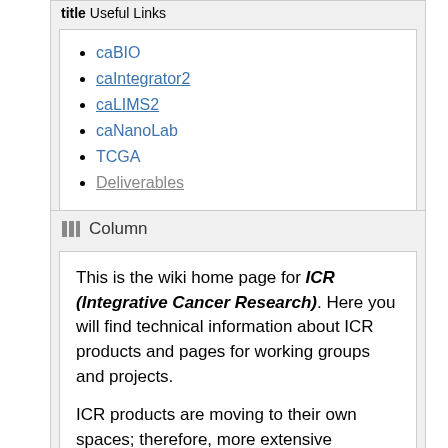title Useful Links
caBIO
caIntegrator2
caLIMS2
caNanoLab
TCGA
Deliverables
Column
This is the wiki home page for ICR (Integrative Cancer Research). Here you will find technical information about ICR products and pages for working groups and projects.
ICR products are moving to their own spaces; therefore, more extensive information for some ICR